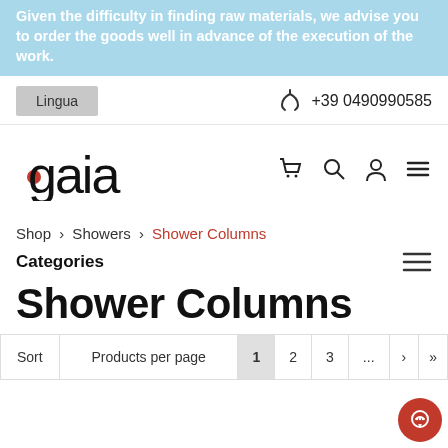Given the difficulty in finding raw materials, we advise you to order the goods well in advance of the execution of the work.
Lingua
+39 0490990585
[Figure (logo): Gaia Interni logo with red dot]
Shop > Showers > Shower Columns
Categories
Shower Columns
Sort  Products per page  1  2  3  ...  >  »